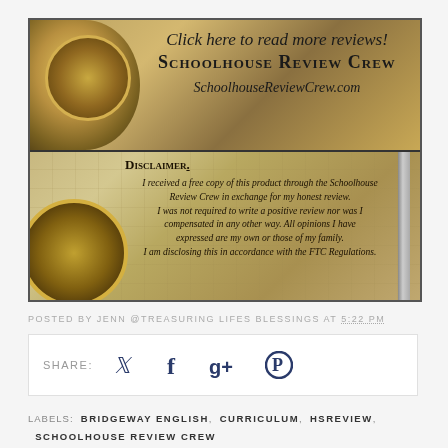[Figure (infographic): Schoolhouse Review Crew banner. Top half: gold compass on left, text 'Click here to read more reviews! SCHOOLHOUSE REVIEW CREW SchoolhouseReviewCrew.com' on right. Bottom half: vintage map background with second compass bottom-left, ruler on right, disclaimer text in center.]
POSTED BY JENN @TREASURING LIFES BLESSINGS AT 5:22 PM
SHARE: [Twitter] [Facebook] [Google+] [Pinterest]
LABELS: BRIDGEWAY ENGLISH, CURRICULUM, HSREVIEW, SCHOOLHOUSE REVIEW CREW